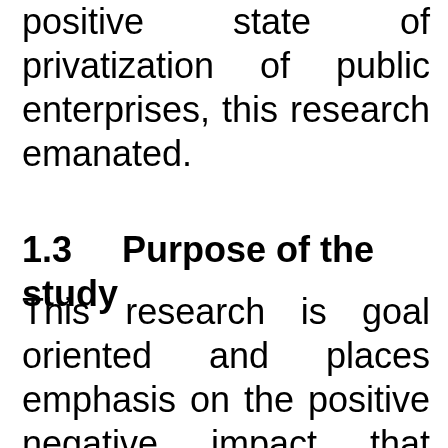positive state of privatization of public enterprises, this research emanated.
1.3    Purpose of the study
This research is goal oriented and places emphasis on the positive negative impact that private has on public enterprises